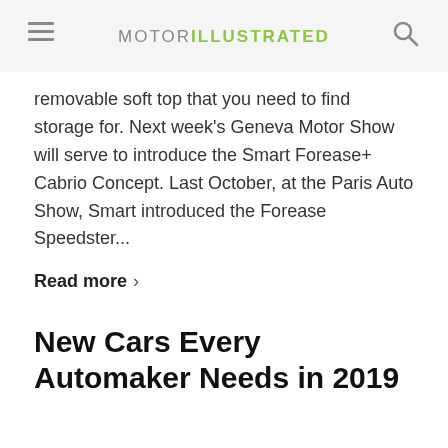MOTOR ILLUSTRATED
removable soft top that you need to find storage for. Next week's Geneva Motor Show will serve to introduce the Smart Forease+ Cabrio Concept. Last October, at the Paris Auto Show, Smart introduced the Forease Speedster...
Read more >
New Cars Every Automaker Needs in 2019